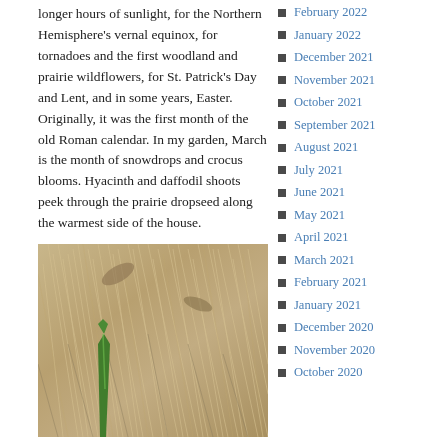longer hours of sunlight, for the Northern Hemisphere's vernal equinox, for tornadoes and the first woodland and prairie wildflowers, for St. Patrick's Day and Lent, and in some years, Easter. Originally, it was the first month of the old Roman calendar. In my garden, March is the month of snowdrops and crocus blooms. Hyacinth and daffodil shoots peek through the prairie dropseed along the warmest side of the house.
[Figure (photo): A close-up photograph of dry prairie grass (dropseed) with a green plant shoot (hyacinth or daffodil) emerging through the tan/brown dried grass blades.]
February 2022
January 2022
December 2021
November 2021
October 2021
September 2021
August 2021
July 2021
June 2021
May 2021
April 2021
March 2021
February 2021
January 2021
December 2020
November 2020
October 2020